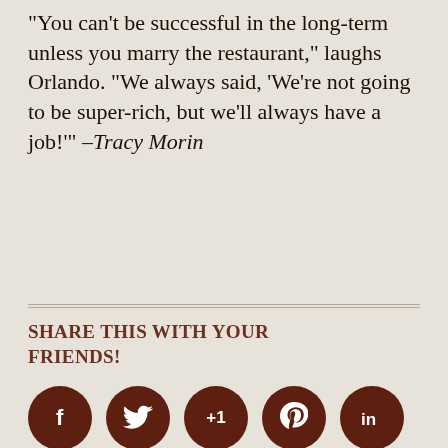“You can’t be successful in the long-term unless you marry the restaurant,” laughs Orlando. “We always said, ‘We’re not going to be super-rich, but we’ll always have a job!’” –Tracy Morin
SHARE THIS WITH YOUR FRIENDS!
[Figure (infographic): Five social media share buttons as dark brown circles: Facebook (f), Twitter (bird), Google Plus (+1), Pinterest (p), LinkedIn (in)]
2 COMMENTS
Joe Albaugh  ★  Reply